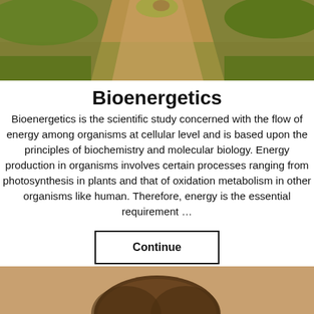[Figure (photo): Outdoor nature scene showing a dirt path with green grass and plants along the edges, viewed from above]
Bioenergetics
Bioenergetics is the scientific study concerned with the flow of energy among organisms at cellular level and is based upon the principles of biochemistry and molecular biology. Energy production in organisms involves certain processes ranging from photosynthesis in plants and that of oxidation metabolism in other organisms like human. Therefore, energy is the essential requirement ...
Continue
[Figure (photo): Partial view of a person's head/hair at the bottom of the page]